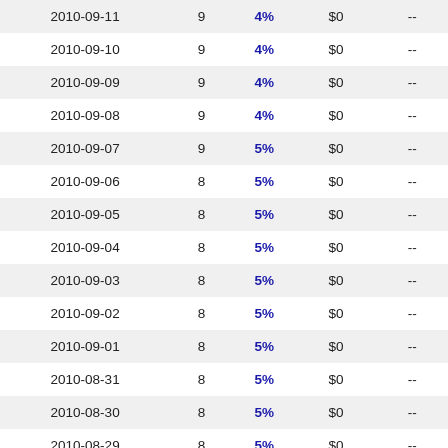| Date | Count | Rate | Amount | Change |
| --- | --- | --- | --- | --- |
| 2010-09-11 | 9 | 4% | $0 | -- |
| 2010-09-10 | 9 | 4% | $0 | -- |
| 2010-09-09 | 9 | 4% | $0 | -- |
| 2010-09-08 | 9 | 4% | $0 | -- |
| 2010-09-07 | 9 | 5% | $0 | -- |
| 2010-09-06 | 8 | 5% | $0 | -- |
| 2010-09-05 | 8 | 5% | $0 | -- |
| 2010-09-04 | 8 | 5% | $0 | -- |
| 2010-09-03 | 8 | 5% | $0 | -- |
| 2010-09-02 | 8 | 5% | $0 | -- |
| 2010-09-01 | 8 | 5% | $0 | -- |
| 2010-08-31 | 8 | 5% | $0 | -- |
| 2010-08-30 | 8 | 5% | $0 | -- |
| 2010-08-29 | 8 | 5% | $0 | -- |
| 2010-08-28 | 8 | 5% | $0 | -- |
| 2010-08-27 | 8 | 5% | $0 | -- |